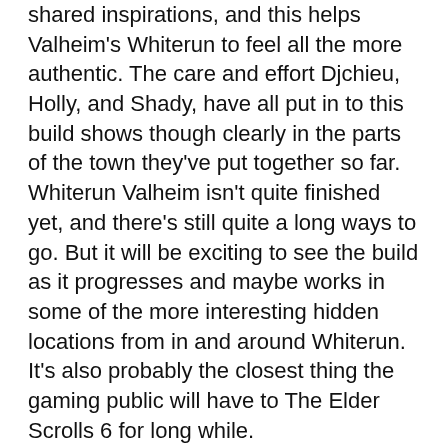shared inspirations, and this helps Valheim's Whiterun to feel all the more authentic. The care and effort Djchieu, Holly, and Shady, have all put in to this build shows though clearly in the parts of the town they've put together so far.
Whiterun Valheim isn't quite finished yet, and there's still quite a long ways to go. But it will be exciting to see the build as it progresses and maybe works in some of the more interesting hidden locations from in and around Whiterun. It's also probably the closest thing the gaming public will have to The Elder Scrolls 6 for long while.
Today marks the start of Women's History Month, or maybe "Womxn's History Month," depending on who's talking. The month just started, but the person running the Twitch Twitter account is already having a bad time.
Twitch is no stranger to advocacy; it's often used its platform to give a voice to marginalized peoples and